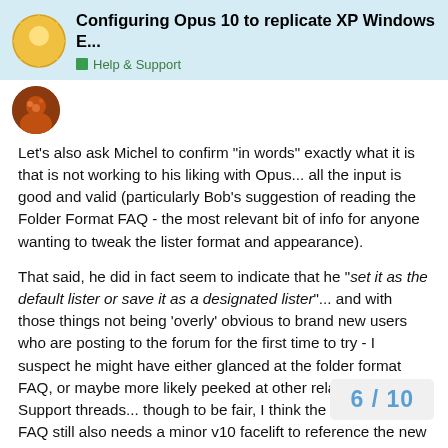Configuring Opus 10 to replicate XP Windows E... Help & Support
Let's also ask Michel to confirm "in words" exactly what it is that is not working to his liking with Opus... all the input is good and valid (particularly Bob's suggestion of reading the Folder Format FAQ - the most relevant bit of info for anyone wanting to tweak the lister format and appearance).
That said, he did in fact seem to indicate that he "set it as the default lister or save it as a designated lister"... and with those things not being 'overly' obvious to brand new users who are posting to the forum for the first time to try - I suspect he might have either glanced at the folder format FAQ, or maybe more likely peeked at other related Help & Support threads... though to be fair, I think the Folder Format FAQ still also needs a minor v10 facelift to reference the new locations of some things in the prefs UI (and other spots ion Opus).
The one thing that probably isn't the most obvious thing he wants to see when he opens a lister: